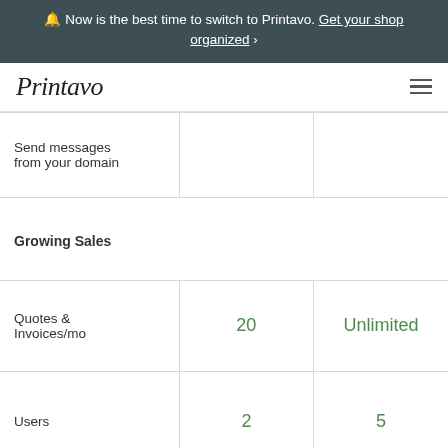🔔 Now is the best time to switch to Printavo. Get your shop organized ›
[Figure (logo): Printavo logo in italic serif font with hamburger menu icon]
| Send messages from your domain |  |  |
| Growing Sales |  |  |
| Quotes & Invoices/mo | 20 | Unlimited |
| Users | 2 | 5 |
| Sales Pipeline | ✓ | ✓ |
| Quotes/Autom... |  |  |